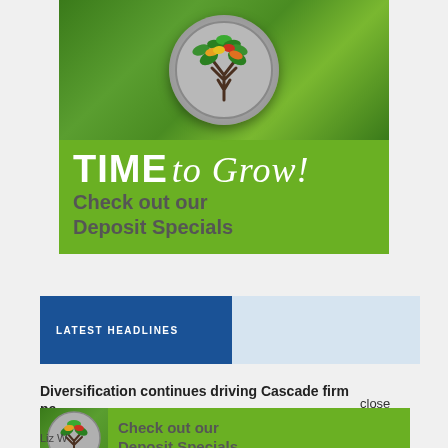[Figure (illustration): Bank deposit specials advertisement banner with a decorative tree of life medallion on a green leafy background. Text reads 'TIME to Grow! Check out our Deposit Specials']
LATEST HEADLINES
Diversification continues driving Cascade firm ne years after founding
close
[Figure (illustration): Small popup ad showing tree of life image with text: Check out our Deposit Specials]
Liz W